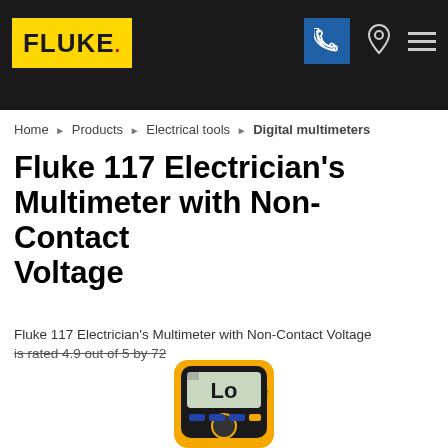[Figure (logo): Fluke logo on dark header bar with navigation icons: phone, location pin, and hamburger menu]
Home ▶ Products ▶ Electrical tools ▶ Digital multimeters
Fluke 117 Electrician's Multimeter with Non-Contact Voltage
Fluke 117 Electrician's Multimeter with Non-Contact Voltage is rated 4.9 out of 5 by 72
[Figure (photo): Fluke 117 digital multimeter in yellow/black casing, displaying 'Lo' on its LCD screen]